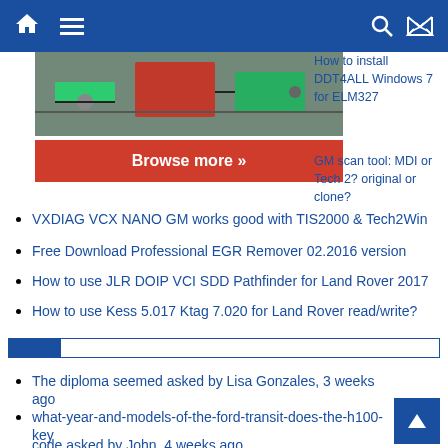Navigation bar with home, menu, search, and shuffle icons
[Figure (screenshot): Screenshot of a circuit board / electronics hardware image]
Browse more »
How to install DDT4ALL Windows 7 for ELM327
GM scan tool: MDI or Tech 2? original or clone?
VXDIAG VCX NANO GM works good with TIS2000 & Tech2Win
Free Download Professional EGR Remover 02.2016 version
How to use JLR DOIP VCI SDD Pathfinder for Land Rover 2017
How to use Kess 5.017 Ktag 7.020 for Land Rover read/write?
The diploma seemed asked by Lisa Gonzales, 3 weeks ago
what-year-and-models-of-the-ford-transit-does-the-h100-key code asked by John, 4 weeks ago